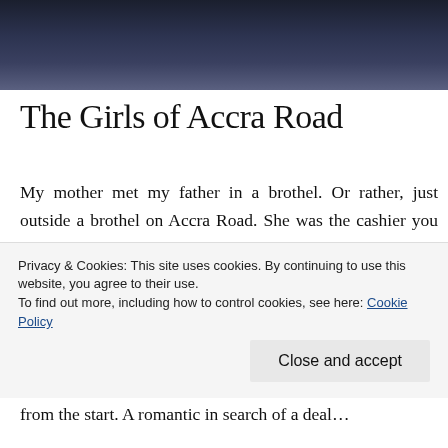[Figure (photo): Dark moody landscape/sky header image with deep navy and blue tones]
The Girls of Accra Road
My mother met my father in a brothel. Or rather, just outside a brothel on Accra Road. She was the cashier you see. Collecting payments before handing them the keys to the room. They could do their business for an hour and not a minute longer. It was usually more than enough. That night, decades past, he came in with a hooker, and he left with my mother's number. The union was doomed from the start. A romantic in search of a deal…
Privacy & Cookies: This site uses cookies. By continuing to use this website, you agree to their use.
To find out more, including how to control cookies, see here: Cookie Policy
Close and accept